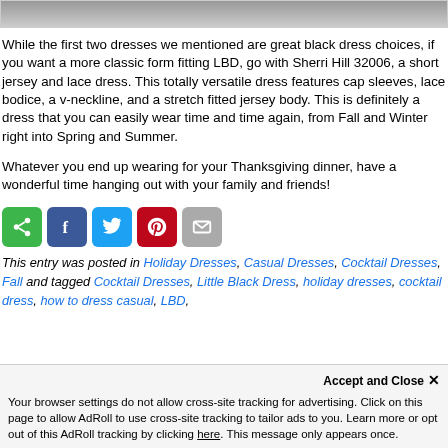[Figure (photo): Top portion of a fashion photo showing a dress, cropped at the top of the page]
While the first two dresses we mentioned are great black dress choices, if you want a more classic form fitting LBD, go with Sherri Hill 32006, a short jersey and lace dress. This totally versatile dress features cap sleeves, lace bodice, a v-neckline, and a stretch fitted jersey body. This is definitely a dress that you can easily wear time and time again, from Fall and Winter right into Spring and Summer.
Whatever you end up wearing for your Thanksgiving dinner, have a wonderful time hanging out with your family and friends!
[Figure (infographic): Social sharing buttons: share (green), Facebook (blue), Twitter (light blue), Pinterest (red), email (gray)]
This entry was posted in Holiday Dresses, Casual Dresses, Cocktail Dresses, Fall and tagged Cocktail Dresses, Little Black Dress, holiday dresses, cocktail dress, how to dress casual, LBD, little black dress, fall, Thanksgiving, Holiday
Your browser settings do not allow cross-site tracking for advertising. Click on this page to allow AdRoll to use cross-site tracking to tailor ads to you. Learn more or opt out of this AdRoll tracking by clicking here. This message only appears once.